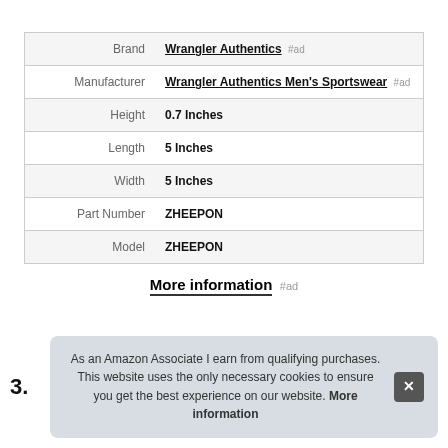| Attribute | Value |
| --- | --- |
| Brand | Wrangler Authentics #ad |
| Manufacturer | Wrangler Authentics Men's Sportswear #ad |
| Height | 0.7 Inches |
| Length | 5 Inches |
| Width | 5 Inches |
| Part Number | ZHEEPON |
| Model | ZHEEPON |
More information #ad
As an Amazon Associate I earn from qualifying purchases. This website uses the only necessary cookies to ensure you get the best experience on our website. More information